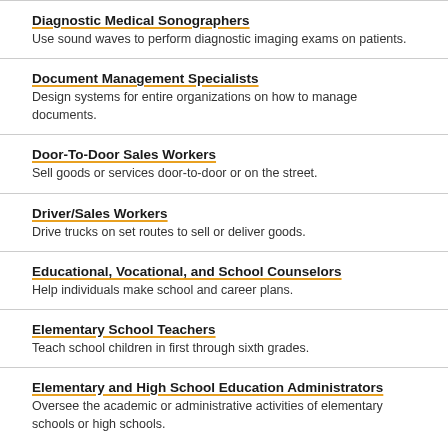Diagnostic Medical Sonographers
Use sound waves to perform diagnostic imaging exams on patients.
Document Management Specialists
Design systems for entire organizations on how to manage documents.
Door-To-Door Sales Workers
Sell goods or services door-to-door or on the street.
Driver/Sales Workers
Drive trucks on set routes to sell or deliver goods.
Educational, Vocational, and School Counselors
Help individuals make school and career plans.
Elementary School Teachers
Teach school children in first through sixth grades.
Elementary and High School Education Administrators
Oversee the academic or administrative activities of elementary schools or high schools.